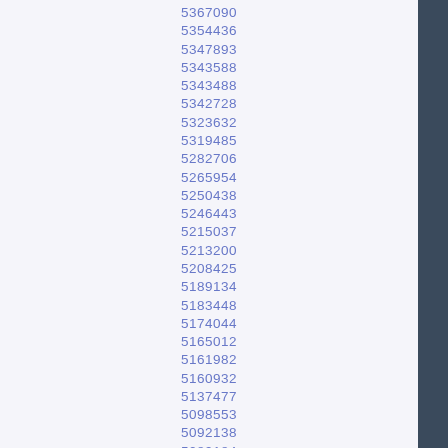5367090
5354436
5347893
5343588
5343488
5342728
5323632
5319485
5282706
5265954
5250438
5246443
5215037
5213200
5208425
5189134
5183448
5174044
5165012
5161982
5160932
5137477
5098553
5092138
5089184
5075981
5065168